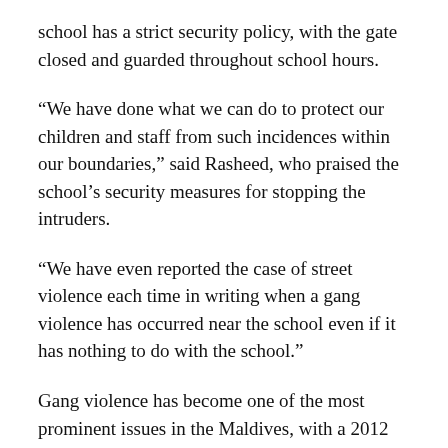school has a strict security policy, with the gate closed and guarded throughout school hours.
“We have done what we can do to protect our children and staff from such incidences within our boundaries,” said Rasheed, who praised the school’s security measures for stopping the intruders.
“We have even reported the case of street violence each time in writing when a gang violence has occurred near the school even if it has nothing to do with the school.”
Gang violence has become one of the most prominent issues in the Maldives, with a 2012 study by the Asia foundation counting 20 to 30 gangs in the capital, each with 40 to 500 members.
Four recorded deaths have occurred as a result of